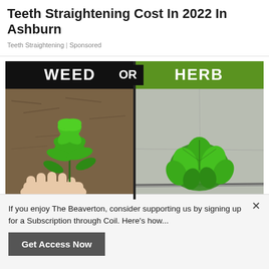Teeth Straightening Cost In 2022 In Ashburn
Teeth Straightening | Sponsored
[Figure (illustration): Side-by-side comparison image with two sections: left side shows 'WEED' header on black background with a photo of a green plant being held by a hand over mulch/soil; right side shows 'HERB' header on green background with a photo of a green leafy herb plant growing between concrete slabs.]
If you enjoy The Beaverton, consider supporting us by signing up for a Subscription through Coil. Here's how...
Get Access Now